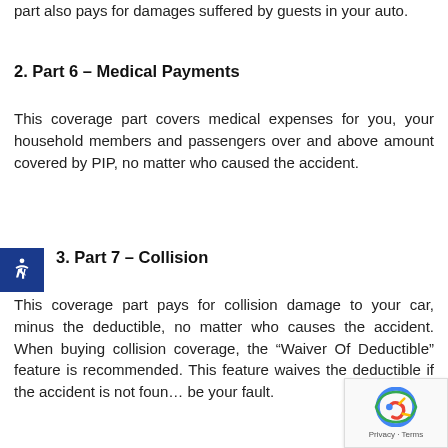part also pays for damages suffered by guests in your auto.
2. Part 6 – Medical Payments
This coverage part covers medical expenses for you, your household members and passengers over and above amount covered by PIP, no matter who caused the accident.
3. Part 7 – Collision
This coverage part pays for collision damage to your car, minus the deductible, no matter who causes the accident. When buying collision coverage, the “Waiver Of Deductible” feature is recommended. This feature waives the deductible if the accident is not found to be your fault.